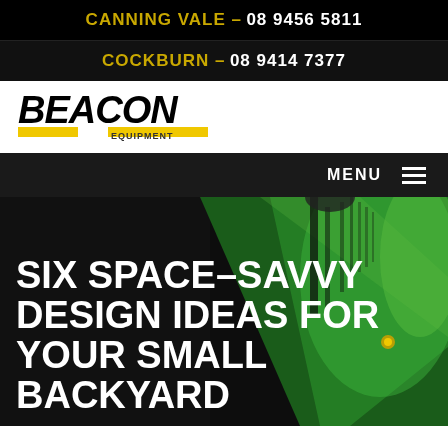CANNING VALE – 08 9456 5811
COCKBURN – 08 9414 7377
[Figure (logo): Beacon Equipment logo in black and yellow]
MENU
SIX SPACE-SAVVY DESIGN IDEAS FOR YOUR SMALL BACKYARD